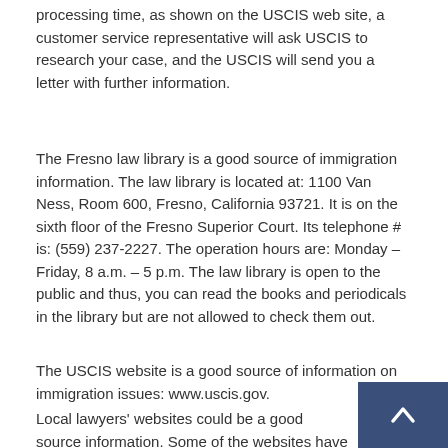processing time, as shown on the USCIS web site, a customer service representative will ask USCIS to research your case, and the USCIS will send you a letter with further information.
The Fresno law library is a good source of immigration information. The law library is located at: 1100 Van Ness, Room 600, Fresno, California 93721. It is on the sixth floor of the Fresno Superior Court. Its telephone # is: (559) 237-2227. The operation hours are: Monday – Friday, 8 a.m. – 5 p.m. The law library is open to the public and thus, you can read the books and periodicals in the library but are not allowed to check them out.
The USCIS website is a good source of information on immigration issues: www.uscis.gov.
Local lawyers' websites could be a good source information. Some of the websites have a sectio